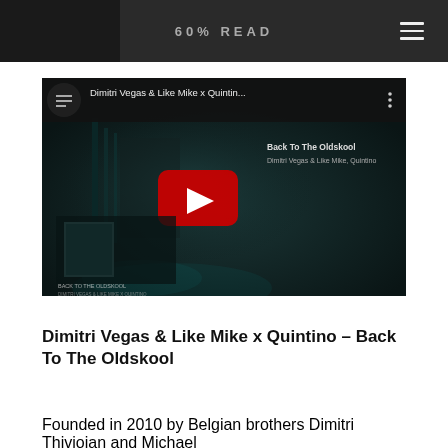60% READ
[Figure (screenshot): YouTube video thumbnail for 'Dimitri Vegas & Like Mike x Quintin...' showing a dark studio/stage scene with a red YouTube play button in the center and 'Back To The Oldskool' text overlay]
Dimitri Vegas & Like Mike x Quintino – Back To The Oldskool
Founded in 2010 by Belgian brothers Dimitri Thivioian and Michael